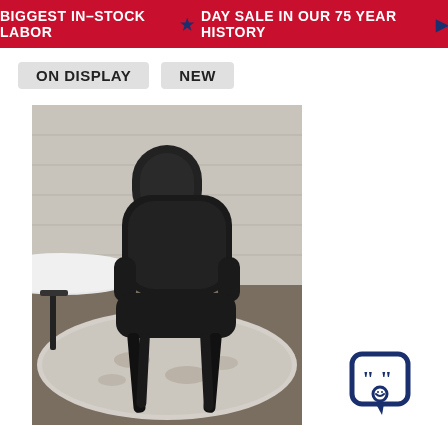BIGGEST IN-STOCK LABOR ★ DAY SALE IN OUR 75 YEAR HISTORY▶
ON DISPLAY    NEW
[Figure (photo): A modern black upholstered dining chair with tapered black legs, positioned next to a white round table on a patterned area rug, in a bright room with light wood-paneled wall.]
[Figure (illustration): Chat/quote bubble icon with quotation marks and a smiley face, in navy blue, used as a customer review or chat widget icon.]